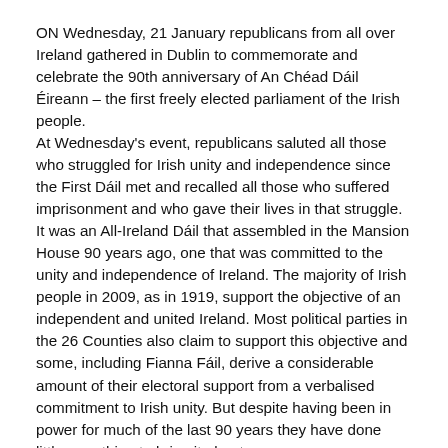ON Wednesday, 21 January republicans from all over Ireland gathered in Dublin to commemorate and celebrate the 90th anniversary of An Chéad Dáil Éireann – the first freely elected parliament of the Irish people.
At Wednesday's event, republicans saluted all those who struggled for Irish unity and independence since the First Dáil met and recalled all those who suffered imprisonment and who gave their lives in that struggle.
It was an All-Ireland Dáil that assembled in the Mansion House 90 years ago, one that was committed to the unity and independence of Ireland. The majority of Irish people in 2009, as in 1919, support the objective of an independent and united Ireland. Most political parties in the 26 Counties also claim to support this objective and some, including Fianna Fáil, derive a considerable amount of their electoral support from a verbalised commitment to Irish unity. But despite having been in power for much of the last 90 years they have done little or nothing to bring it about.
The purpose of the Sinn Féin event at the Mansion House this week was not merely to commemorate. The re-unification of Ireland and the establishment of a 32-County republic based on the principles of equality and social justice as outlined the the Democratic Programme of the First Dáil is a live political project. Sinn Féin is pursuing a political strategy to achieve this. Building the political strength to bring about fundamental political, social and constitutional change is key to that strategy.